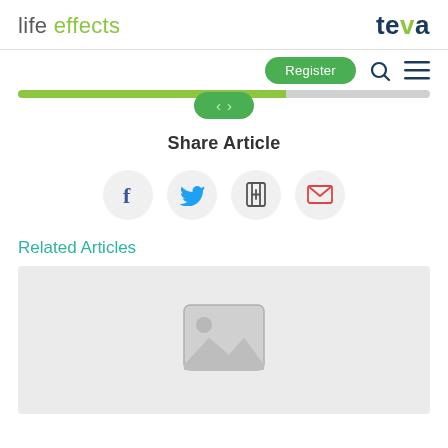life effects | teva
[Figure (screenshot): Navigation bar with Register button, search icon, and hamburger menu icon. A green progress bar spans the width with navigation arrows.]
Share Article
[Figure (infographic): Four social sharing icon circles: Facebook (f), Twitter bird, add/bookmark icon, and email envelope icon]
Related Articles
[Figure (photo): Placeholder image box with grey background showing a generic image placeholder icon (mountains and sun)]